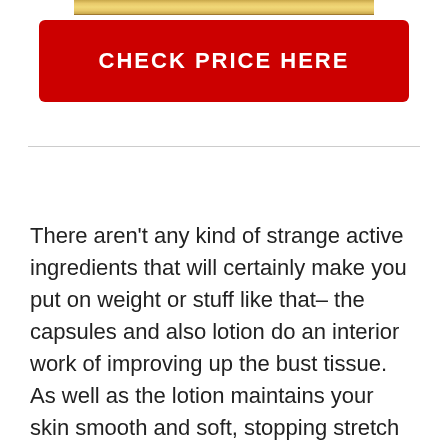[Figure (photo): Partial image of product at top of page, showing gold/cream colored packaging]
CHECK PRICE HERE
There aren't any kind of strange active ingredients that will certainly make you put on weight or stuff like that– the capsules and also lotion do an interior work of improving up the bust tissue.
As well as the lotion maintains your skin smooth and soft, stopping stretch marks as your busts increase the size of.